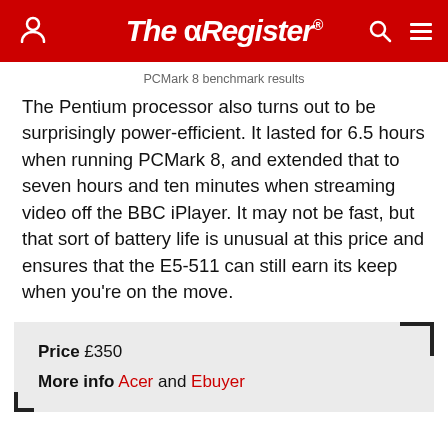The Register
PCMark 8 benchmark results
The Pentium processor also turns out to be surprisingly power-efficient. It lasted for 6.5 hours when running PCMark 8, and extended that to seven hours and ten minutes when streaming video off the BBC iPlayer. It may not be fast, but that sort of battery life is unusual at this price and ensures that the E5-511 can still earn its keep when you're on the move.
| Price | £350 |
| More info | Acer and Ebuyer |